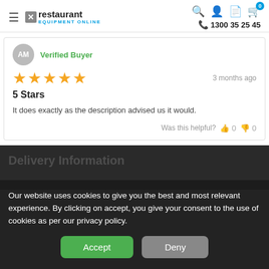Restaurant Equipment Online — 1300 35 25 45
Verified Buyer
5 Stars — 3 months ago — It does exactly as the description advised us it would. — Was this helpful? 0 0
Our website uses cookies to give you the best and most relevant experience. By clicking on accept, you give your consent to the use of cookies as per our privacy policy.
Accept | Deny